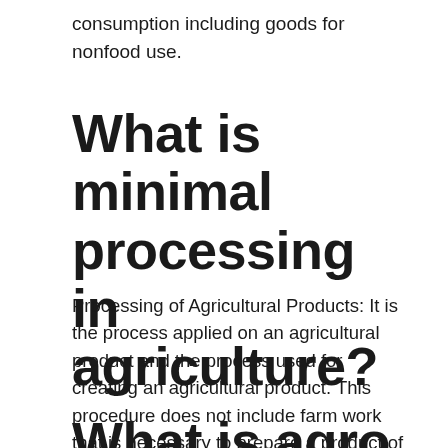consumption including goods for nonfood use.
What is minimal processing in agriculture?
Processing of Agricultural Products: It is the process applied on an agricultural product and the process used for creating an agricultural product. This procedure does not include farm work that is necessary to prepare a product of plant or even animal origin so it can be sold. Processing
What is agro food